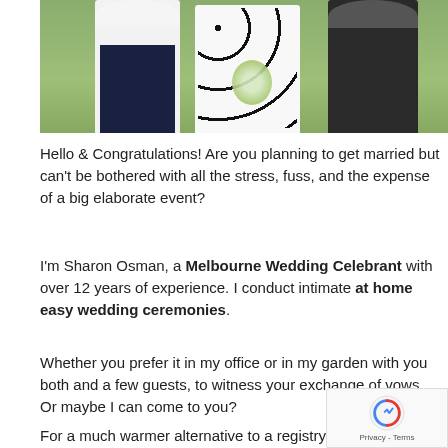[Figure (photo): Wedding photo showing three people standing outdoors: a person in a white blazer and dark pants on the left, a woman in a polka dot dress holding a floral bouquet in the center, and a person in a dark suit on the right. Green grass and a dark wall visible in the background.]
Hello & Congratulations! Are you planning to get married but can't be bothered with all the stress, fuss, and the expense of a big elaborate event?
I'm Sharon Osman, a Melbourne Wedding Celebrant with over 12 years of experience. I conduct intimate at home easy wedding ceremonies.
Whether you prefer it in my office or in my garden with you both and a few guests, to witness your exchange of vows. Or maybe I can come to you?
For a much warmer alternative to a registry office wedding, I offer quite comparable prices. I'll be happy to advise you on the process.